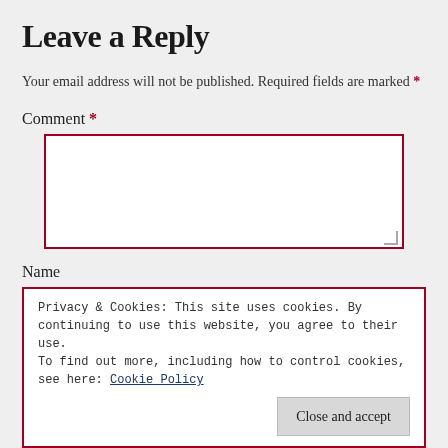Leave a Reply
Your email address will not be published. Required fields are marked *
Comment *
[Figure (screenshot): Comment text area input box with red border]
Name
Privacy & Cookies: This site uses cookies. By continuing to use this website, you agree to their use.
To find out more, including how to control cookies, see here: Cookie Policy
Close and accept
Website